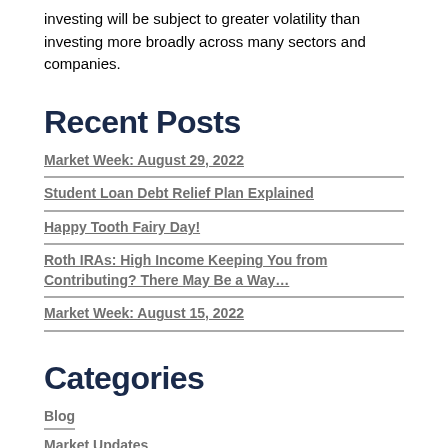investing will be subject to greater volatility than investing more broadly across many sectors and companies.
Recent Posts
Market Week: August 29, 2022
Student Loan Debt Relief Plan Explained
Happy Tooth Fairy Day!
Roth IRAs: High Income Keeping You from Contributing? There May Be a Way…
Market Week: August 15, 2022
Categories
Blog
Market Updates